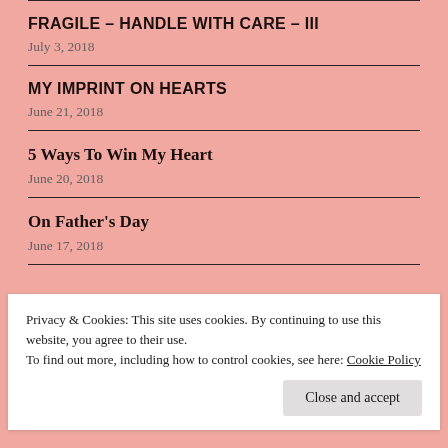FRAGILE – HANDLE WITH CARE – III
July 3, 2018
MY IMPRINT ON HEARTS
June 21, 2018
5 Ways To Win My Heart
June 20, 2018
On Father's Day
June 17, 2018
Privacy & Cookies: This site uses cookies. By continuing to use this website, you agree to their use.
To find out more, including how to control cookies, see here: Cookie Policy